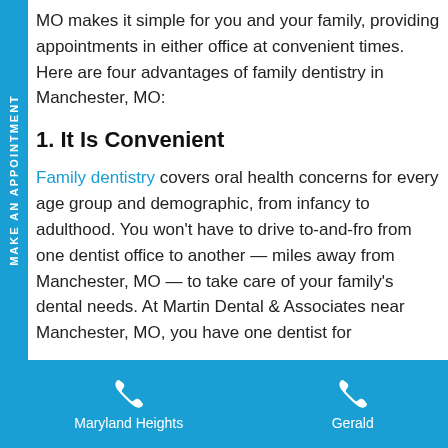MO makes it simple for you and your family, providing appointments in either office at convenient times. Here are four advantages of family dentistry in Manchester, MO:
1. It Is Convenient
Family dentistry covers oral health concerns for every age group and demographic, from infancy to adulthood. You won't have to drive to-and-fro from one dentist office to another — miles away from Manchester, MO — to take care of your family's dental needs. At Martin Dental & Associates near Manchester, MO, you have one dentist for
Maryland Heights   Gerald